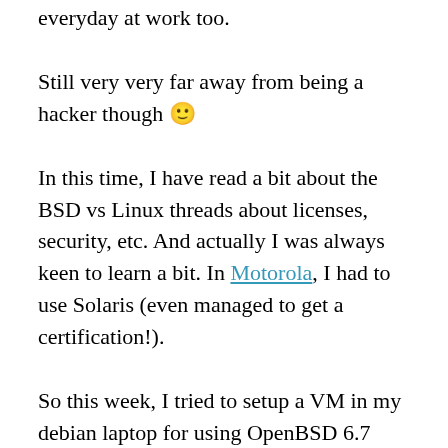everyday at work too.
Still very very far away from being a hacker though 🙂
In this time, I have read a bit about the BSD vs Linux threads about licenses, security, etc. And actually I was always keen to learn a bit. In Motorola, I had to use Solaris (even managed to get a certification!).
So this week, I tried to setup a VM in my debian laptop for using OpenBSD 6.7
I found and followed this link, so all credits for the author.